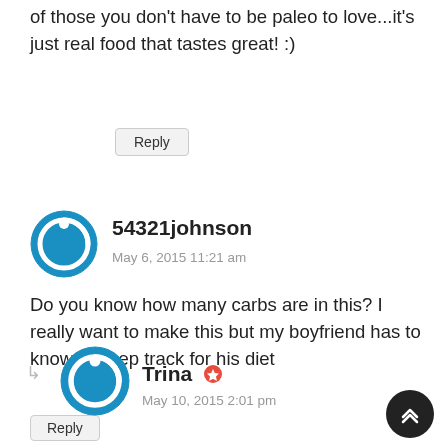of those you don't have to be paleo to love...it's just real food that tastes great! :)
Reply
54321johnson
May 6, 2015 11:21 am
Do you know how many carbs are in this? I really want to make this but my boyfriend has to know to keep track for his diet
Reply
Trina
May 10, 2015 2:01 pm